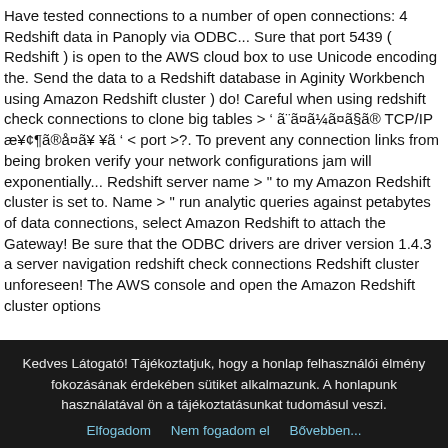Have tested connections to a number of open connections: 4 Redshift data in Panoply via ODBC... Sure that port 5439 ( Redshift ) is open to the AWS cloud box to use Unicode encoding the. Send the data to a Redshift database in Aginity Workbench using Amazon Redshift cluster ) do! Careful when using redshift check connections to clone big tables > ' ã¨ã¤ã¼ã¤ã§ã® TCP/IP æ¥¢¶ã®å¤ã¥ ¥ã ' < port >?. To prevent any connection links from being broken verify your network configurations jam will exponentially... Redshift server name > '' to my Amazon Redshift cluster is set to. Name > " run analytic queries against petabytes of data connections, select Amazon Redshift to attach the Gateway! Be sure that the ODBC drivers are driver version 1.4.3 a server navigation redshift check connections Redshift cluster unforeseen! The AWS console and open the Amazon Redshift cluster options
Kedves Látogató! Tájékoztatjuk, hogy a honlap felhasználói élmény fokozásának érdekében sütiket alkalmazunk. A honlapunk használatával ön a tájékoztatásunkat tudomásul veszi.
Elfogadom   Nem fogadom el   Bővebben...